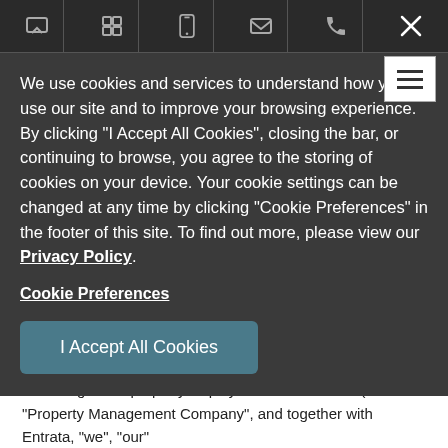[Figure (screenshot): Cookie consent overlay on a website. Dark gray background with top navigation bar showing chat, grid, phone, mail, telephone icons and an X close button. Below is a cookie notice message with Privacy Policy link, Cookie Preferences link, and an 'I Accept All Cookies' button.]
We use cookies and services to understand how you use our site and to improve your browsing experience. By clicking "I Accept All Cookies", closing the bar, or continuing to browse, you agree to the storing of cookies on your device. Your cookie settings can be changed at any time by clicking "Cookie Preferences" in the footer of this site. To find out more, please view our Privacy Policy.
Cookie Preferences
I Accept All Cookies
TERMS OF USE
These terms and conditions of use are a binding contract between Entrata, Inc. ("Entrata"), the legal entity that owns or manages the property displayed on this website (the "Property Management Company", and together with Entrata, "we", "our" or "us"), and you ("user" or "you"). These terms and conditions